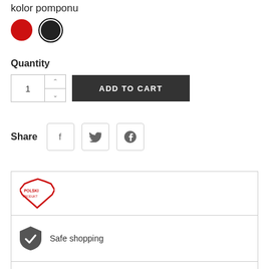kolor pomponu
[Figure (other): Color swatches: red circle and black circle with border]
Quantity
[Figure (other): Quantity input with up/down arrows and ADD TO CART button]
Share
[Figure (other): Social share buttons: Facebook, Twitter, Pinterest]
[Figure (other): Info box with Polski Produkt logo, Safe shopping icon and text, Choice of delivery icon and text]